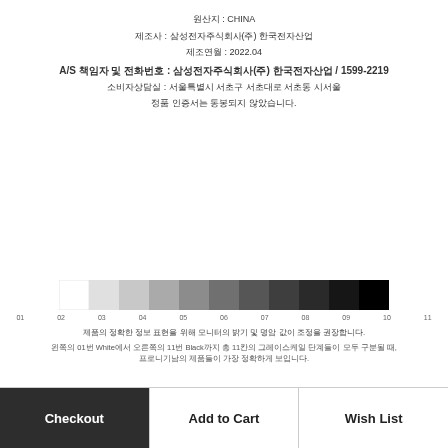원산지 : CHINA
제조사 : 삼성전자주식회사(주) 한국전자산업
제조연월 : 2022.04
A/S 책임자 및 전화번호 : 삼성전자주식회사(주) 한국전자산업 / 1599-2219
소비자상담실 : 서울특별시 서초구 서초대로 서초동 시서울
정품 인증서는 동봉되지 않았습니다.
[Figure (illustration): Grayscale calibration strip showing 11 steps from white (01) to black (11)]
제품의 정확한 정보 표현을 위해 모니터의 밝기 및 명암 값이 조정을 권장합니다.
왼쪽의 01번 White에서 오른쪽의 11번 Black까지 총 11칸의 그레이스케일 단계들이 모두 구분될 때, 프로니기남의 제품들이 가장 정확하게 보입니다.